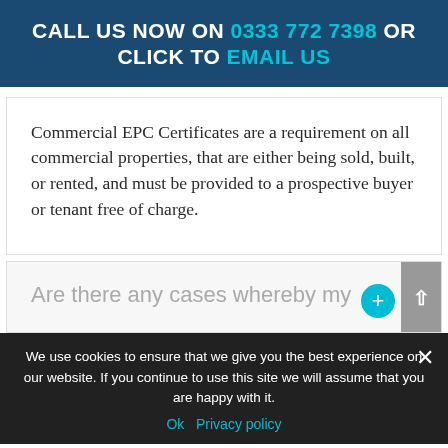CALL US NOW ON 0333 772 7398 OR CLICK TO EMAIL US
Commercial EPC Certificates are a requirement on all commercial properties, that are either being sold, built, or rented, and must be provided to a prospective buyer or tenant free of charge.
Are there any cases whereby my
We use cookies to ensure that we give you the best experience on our website. If you continue to use this site we will assume that you are happy with it.
Ok   Privacy policy